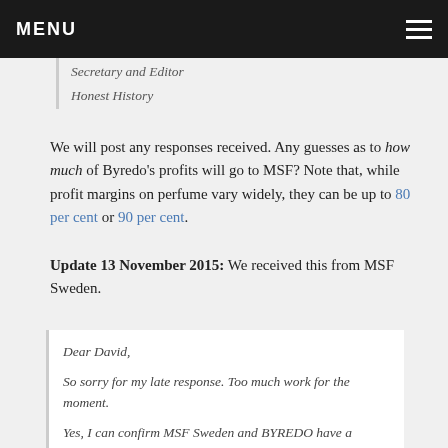MENU
Secretary and Editor
Honest History
We will post any responses received. Any guesses as to how much of Byredo's profits will go to MSF? Note that, while profit margins on perfume vary widely, they can be up to 80 per cent or 90 per cent.
Update 13 November 2015: We received this from MSF Sweden.
Dear David,

So sorry for my late response. Too much work for the moment.

Yes, I can confirm MSF Sweden and BYREDO have a collaboration concerning their new perfume Rose of No Man's Land.

Best regards,